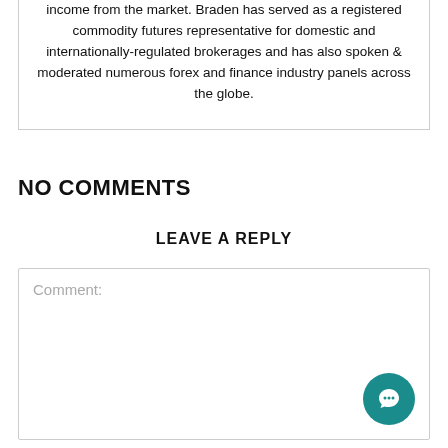income from the market. Braden has served as a registered commodity futures representative for domestic and internationally-regulated brokerages and has also spoken & moderated numerous forex and finance industry panels across the globe.
NO COMMENTS
LEAVE A REPLY
Comment: